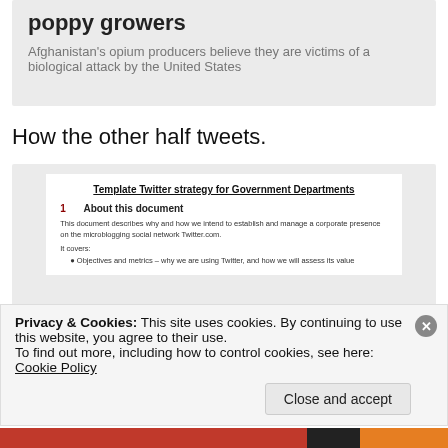poppy growers
Afghanistan's opium producers believe they are victims of a biological attack by the United States
How the other half tweets.
[Figure (screenshot): Screenshot of a document titled 'Template Twitter strategy for Government Departments' showing section 1 'About this document' with body text and a partial bullet point.]
Privacy & Cookies: This site uses cookies. By continuing to use this website, you agree to their use.
To find out more, including how to control cookies, see here: Cookie Policy
Close and accept